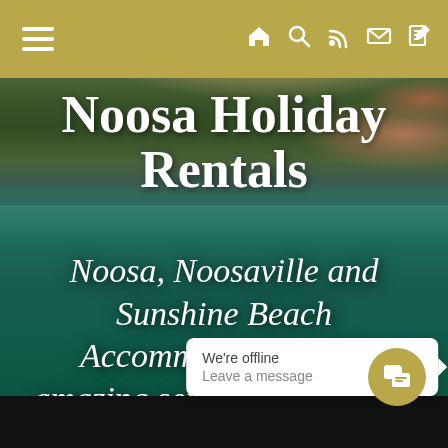Noosa Holiday Rentals – navigation bar with hamburger menu and icons
Noosa Holiday Rentals
[Figure (photo): Aerial photograph of Noosa coastline showing forested headland, beach, and turquoise water at golden hour sunset]
Noosa, Noosaville and Sunshine Beach Accommodation with amazing service. Let's make your Noosa holiday memories perfect
We're offline
Leave a message